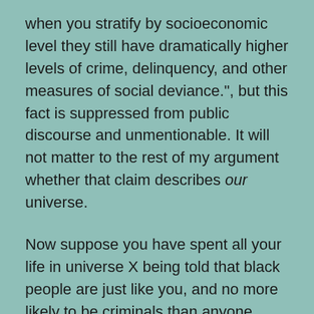when you stratify by socioeconomic level they still have dramatically higher levels of crime, delinquency, and other measures of social deviance.", but this fact is suppressed from public discourse and unmentionable. It will not matter to the rest of my argument whether that claim describes our universe.
Now suppose you have spent all your life in universe X being told that black people are just like you, and no more likely to be criminals than anyone else. Until one day an actual racist, a bigot, a person who has a fixated hate of black people, says to you "They're lying, and